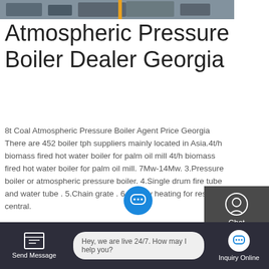[Figure (photo): Partial view of industrial boiler equipment at top of page]
Atmospheric Pressure Boiler Dealer Georgia
8t Coal Atmospheric Pressure Boiler Agent Price Georgia There are 452 boiler tph suppliers mainly located in Asia.4t/h biomass fired hot water boiler for palm oil mill 4t/h biomass fired hot water boiler for palm oil mill. 7Mw-14Mw. 3.Pressure boiler or atmospheric pressure boiler. 4.Single drum fire tube and water tube . 5.Chain grate . 6.Supply heating for residential central.
GET A QUOTE
[Figure (screenshot): Side panel with Chat, Email/TOP, and Contact icons on dark background]
[Figure (photo): Industrial boiler equipment in a facility, second listing]
Dealer
ndustrial 8t
Hey, we are live 24/7. How may I help you?
Send Message
Inquiry Online